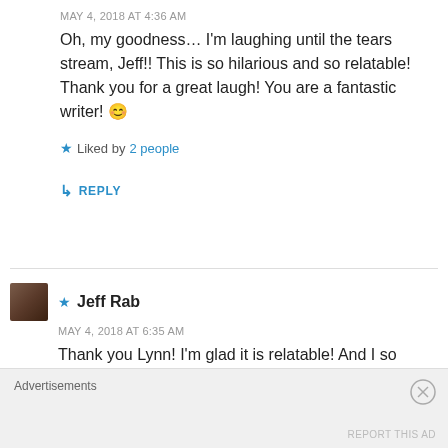MAY 4, 2018 AT 4:36 AM
Oh, my goodness… I'm laughing until the tears stream, Jeff!! This is so hilarious and so relatable! Thank you for a great laugh! You are a fantastic writer! 😊
★ Liked by 2 people
↳ REPLY
★ Jeff Rab
MAY 4, 2018 AT 6:35 AM
Thank you Lynn! I'm glad it is relatable! And I so appreciate your encouragement and kindness! Peace to you my sister in Christ!
Advertisements